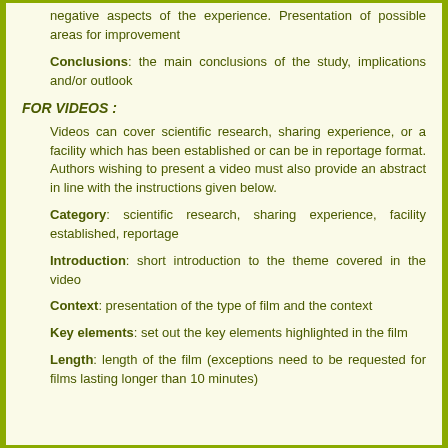negative aspects of the experience. Presentation of possible areas for improvement
Conclusions: the main conclusions of the study, implications and/or outlook
FOR VIDEOS :
Videos can cover scientific research, sharing experience, or a facility which has been established or can be in reportage format. Authors wishing to present a video must also provide an abstract in line with the instructions given below.
Category: scientific research, sharing experience, facility established, reportage
Introduction: short introduction to the theme covered in the video
Context: presentation of the type of film and the context
Key elements: set out the key elements highlighted in the film
Length: length of the film (exceptions need to be requested for films lasting longer than 10 minutes)